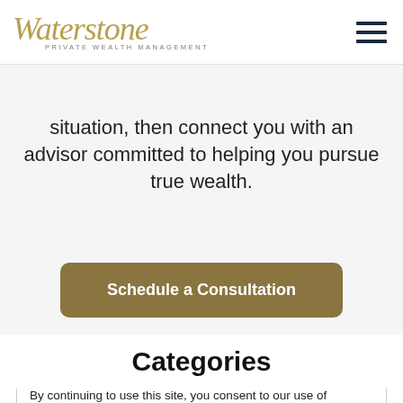Waterstone Private Wealth Management
situation, then connect you with an advisor committed to helping you pursue true wealth.
[Figure (other): Schedule a Consultation button — rounded rectangle with dark gold/olive background and white bold text]
Categories
By continuing to use this site, you consent to our use of cookies.
[Figure (other): ACCEPT button — dark rounded rectangle with white uppercase text]